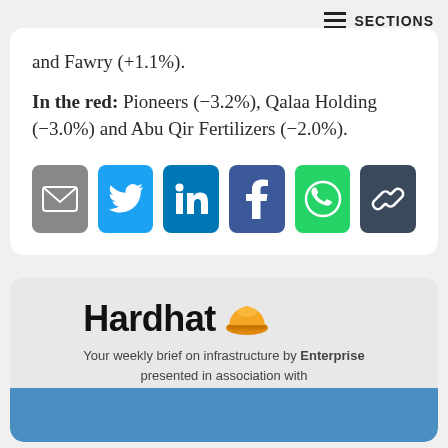SECTIONS
and Fawry (+1.1%).
In the red: Pioneers (-3.2%), Qalaa Holding (-3.0%) and Abu Qir Fertilizers (-2.0%).
[Figure (other): Social media share icons: email, Twitter, LinkedIn, Facebook, WhatsApp, link]
[Figure (logo): Hardhat newsletter logo with hard hat emoji and text: Your weekly brief on infrastructure by Enterprise presented in association with Orascom Construction logo]